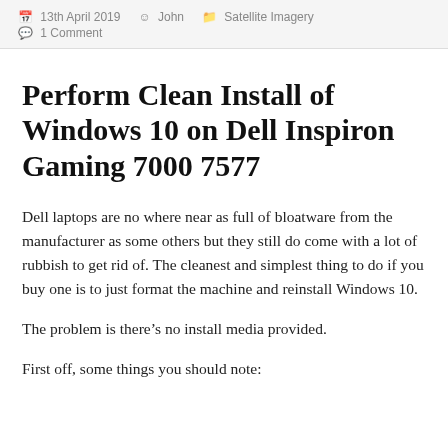13th April 2019  John  Satellite Imagery  1 Comment
Perform Clean Install of Windows 10 on Dell Inspiron Gaming 7000 7577
Dell laptops are no where near as full of bloatware from the manufacturer as some others but they still do come with a lot of rubbish to get rid of. The cleanest and simplest thing to do if you buy one is to just format the machine and reinstall Windows 10.
The problem is there’s no install media provided.
First off, some things you should note: